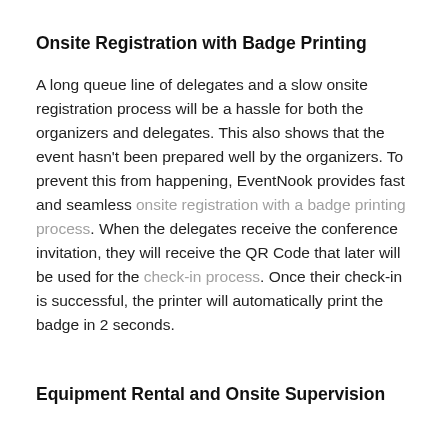Onsite Registration with Badge Printing
A long queue line of delegates and a slow onsite registration process will be a hassle for both the organizers and delegates. This also shows that the event hasn't been prepared well by the organizers. To prevent this from happening, EventNook provides fast and seamless onsite registration with a badge printing process. When the delegates receive the conference invitation, they will receive the QR Code that later will be used for the check-in process. Once their check-in is successful, the printer will automatically print the badge in 2 seconds.
Equipment Rental and Onsite Supervision